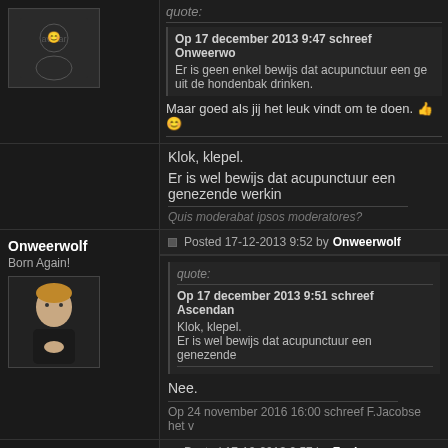quote:
Op 17 december 2013 9:47 schreef Onweerwolf: Er is geen enkel bewijs dat acupunctuur een genezende werking heeft, anders dan lekker relaxed op een bankje liggen. En dat heeft hetzelfde effect als uit de hondenbak drinken.
Maar goed als jij het leuk vindt om te doen.
Klok, klepel.
Er is wel bewijs dat acupunctuur een genezende werkin...
Quis moderabat ipsos moderatores?
Posted 17-12-2013 9:52 by Onweerwolf
Onweerwolf
Born Again!
quote:
Op 17 december 2013 9:51 schreef Ascendan...: Klok, klepel. Er is wel bewijs dat acupunctuur een genezende...
Nee.
Op 24 november 2016 16:00 schreef F.Jacobse het v...
Fusion
Posted 17-12-2013 9:57 by Fusion